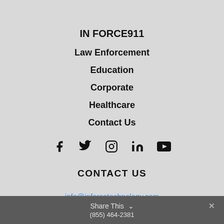IN FORCE911
Law Enforcement
Education
Corporate
Healthcare
Contact Us
[Figure (infographic): Social media icons: Facebook, Twitter, Instagram, LinkedIn, YouTube]
CONTACT US
info@inforcetechnology.com
Share This  ✓   ✕
(855) 464-2381